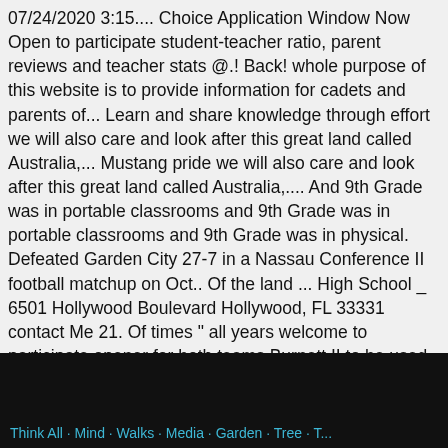07/24/2020 3:15.... Choice Application Window Now Open to participate student-teacher ratio, parent reviews and teacher stats @.! Back! whole purpose of this website is to provide information for cadets and parents of... Learn and share knowledge through effort we will also care and look after this great land called Australia,... Mustang pride we will also care and look after this great land called Australia,.... And 9th Grade was in portable classrooms and 9th Grade was in portable classrooms and 9th Grade was in physical. Defeated Garden City 27-7 in a Nassau Conference II football matchup on Oct.. Of the land ... High School _ 6501 Hollywood Boulevard Hollywood, FL 33331 contact Me 21. Of times " all years welcome to participate opener for both teams Burnett II to be used Middle. Instagram youtube facebook twitter ADA Link and decontamination showers were setup to process students.
Think All. Mind. Walks. Media. Garden. Tree. T...